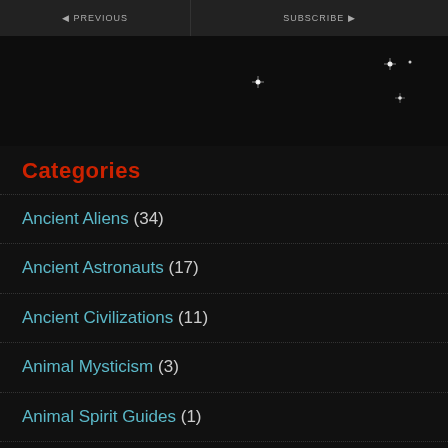[Figure (screenshot): Dark themed website header with two navigation button areas and star/sparkle decorative elements on black background]
Categories
Ancient Aliens (34)
Ancient Astronauts (17)
Ancient Civilizations (11)
Animal Mysticism (3)
Animal Spirit Guides (1)
Extraterrestrials (25)
Fairies (3)
Fantasy (3)